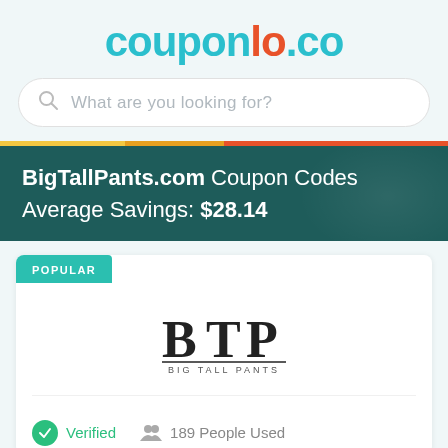couponlo.co
What are you looking for?
BigTallPants.com Coupon Codes Average Savings: $28.14
POPULAR
[Figure (logo): Big Tall Pants (BTP) logo with large B T P letters and text 'BIG TALL PANTS' underneath]
Verified   189 People Used